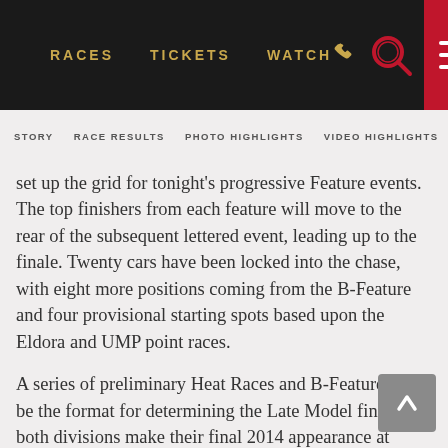RACES   TICKETS   WATCH
STORY   RACE RESULTS   PHOTO HIGHLIGHTS   VIDEO HIGHLIGHTS   RACING
set up the grid for tonight's progressive Feature events. The top finishers from each feature will move to the rear of the subsequent lettered event, leading up to the finale. Twenty cars have been locked into the chase, with eight more positions coming from the B-Feature and four provisional starting spots based upon the Eldora and UMP point races.
A series of preliminary Heat Races and B-Features will be the format for determining the Late Model finale, as both divisions make their final 2014 appearance at Eldora.